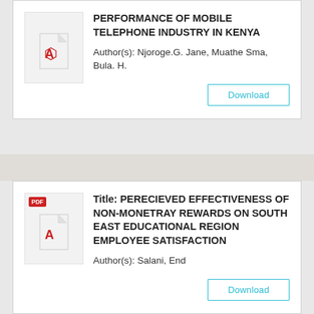PERFORMANCE OF MOBILE TELEPHONE INDUSTRY IN KENYA
Author(s): Njoroge.G. Jane, Muathe Sma, Bula. H.
Title: PERECIEVED EFFECTIVENESS OF NON-MONETRAY REWARDS ON SOUTH EAST EDUCATIONAL REGION EMPLOYEE SATISFACTION
Author(s): Salani, End